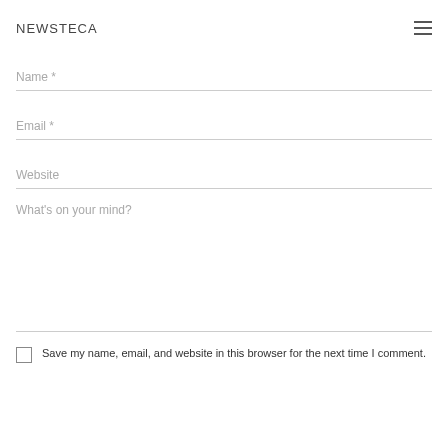NEWSTECA
Name *
Email *
Website
What's on your mind?
Save my name, email, and website in this browser for the next time I comment.